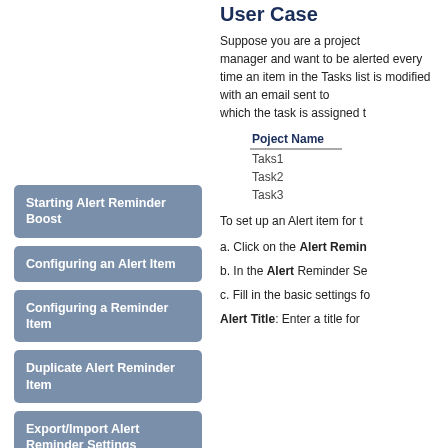User Case
Suppose you are a project manager and want to be alerted every time an item in the Tasks list is modified, with an email sent to which the task is assigned to.
| Poject Name |
| --- |
| Taks1 |
| Task2 |
| Task3 |
To set up an Alert item for t
a. Click on the Alert Remin
b. In the Alert Reminder Se
c. Fill in the basic settings fo
Alert Title: Enter a title for
Starting Alert Reminder Boost
Configuring an Alert Item
Configuring a Reminder Item
Duplicate Alert Reminder Item
Export/Import Alert Reminder Settings
User Case
Back to top